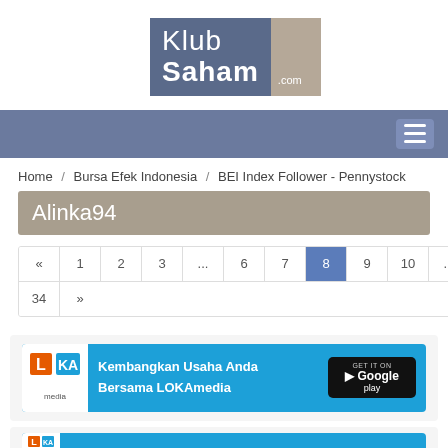[Figure (logo): KlubSaham.com logo — left part dark blue-grey with 'Klub' and 'Saham' in white, right part beige with '.com' in white]
[Figure (screenshot): Navigation bar with hamburger menu icon on right]
Home / Bursa Efek Indonesia / BEI Index Follower - Pennystock
Alinka94
« 1 2 3 ... 6 7 8 9 10 ... 32 33 34 »
[Figure (screenshot): LOKAmedia advertisement banner: 'Kembangkan Usaha Anda Bersama LOKAmedia' with Google Play button]
[Figure (screenshot): Second advertisement banner (partial), blue background with logo]